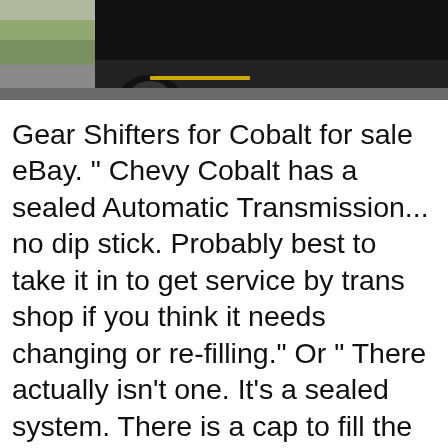[Figure (photo): Partial view of a dark-colored car (Chevy Cobalt) driving on a road, cropped at the top of the page showing the front portion of the vehicle with green vegetation in the background.]
Gear Shifters for Cobalt for sale eBay. " Chevy Cobalt has a sealed Automatic Transmission... no dip stick. Probably best to take it in to get service by trans shop if you think it needs changing or re-filling." Or " There actually isn't one. It's a sealed system. There is a cap to fill the transmission directly ontop of the transmissionвЂ¦ " Chevy Cobalt has a sealed Automatic Transmission... no dip stick. Probably best to take it in to get service by trans shop if you think it needs changing or re-filling." Or " There actually isn't one. It's a sealed system. There is a cap to fill the transmission